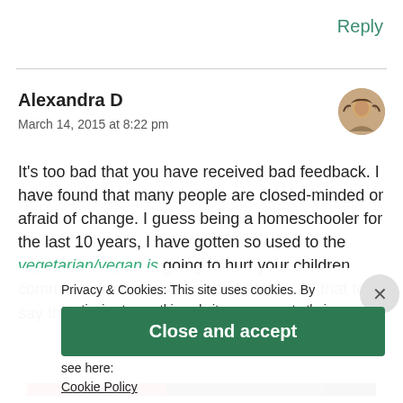Reply
Alexandra D
March 14, 2015 at 8:22 pm
It's too bad that you have received bad feedback. I have found that many people are closed-minded or afraid of change. I guess being a homeschooler for the last 10 years, I have gotten so used to the vegetarian/vegan is going to hurt your children comments from people uncomfortable. All that to say that we won't be able to
Privacy & Cookies: This site uses cookies. By continuing to use this website, you agree to their use. To find out more, including how to control cookies, see here: Cookie Policy
Close and accept